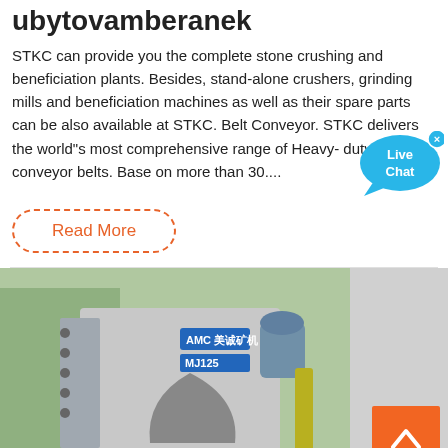ubytovamberanek
STKC can provide you the complete stone crushing and beneficiation plants. Besides, stand-alone crushers, grinding mills and beneficiation machines as well as their spare parts can be also available at STKC. Belt Conveyor. STKC delivers the world"s most comprehensive range of Heavy-duty conveyor belts. Base on more than 30....
[Figure (other): Live Chat speech bubble widget with blue background and close button]
Read More
[Figure (photo): Industrial stone crushing machine (AMC MJ125 jaw crusher) on a red flatbed truck, with Chinese text on the machine body]
[Figure (other): Orange back-to-top arrow button]